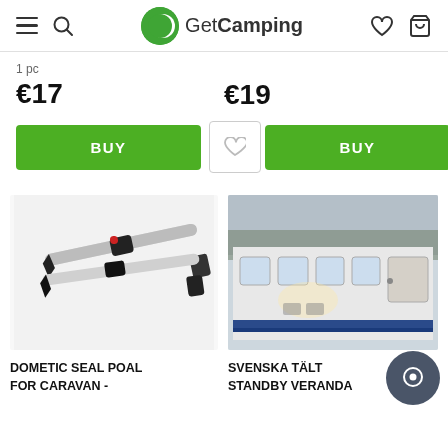GetCamping
1 pc
€17
€19
BUY
BUY
[Figure (photo): Dometic Seal Poal for Caravan - telescopic aluminium poles with black rubber ends and a red indicator]
DOMETIC SEAL POAL FOR CARAVAN -
[Figure (photo): Svenska Tält Standby Veranda - large grey enclosed caravan awning/veranda with windows and a door]
SVENSKA TÄLT STANDBY VERANDA